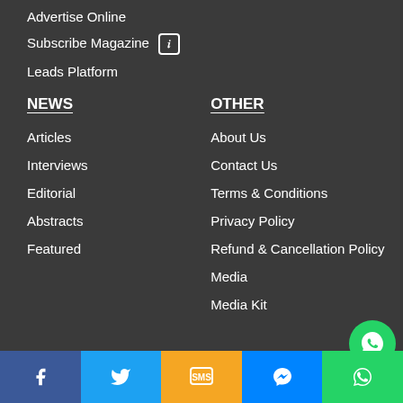Advertise Online
Subscribe Magazine ℹ
Leads Platform
NEWS
Articles
Interviews
Editorial
Abstracts
Featured
OTHER
About Us
Contact Us
Terms & Conditions
Privacy Policy
Refund & Cancellation Policy
Media
Media Kit
Facebook | Twitter | SMS | Messenger | WhatsApp